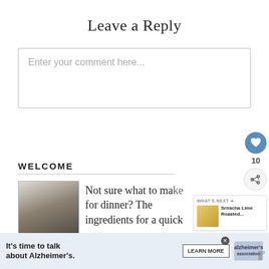Leave a Reply
Enter your comment here...
WELCOME
Not sure what to make for dinner? The ingredients for a quick
[Figure (photo): Woman in kitchen smiling, standing near refrigerator]
[Figure (infographic): What's Next widget showing Sriracha Lime Roasted... with food thumbnail]
[Figure (infographic): Floating heart/like button showing count of 10 and share button]
It's time to talk about Alzheimer's. LEARN MORE alzheimer's association